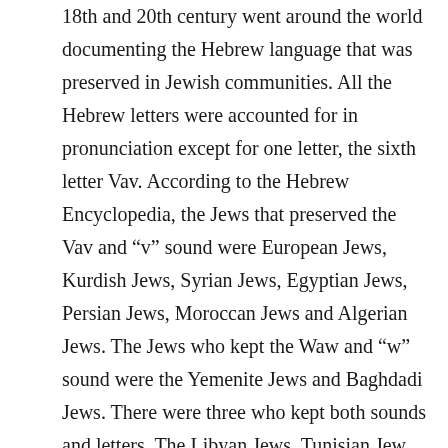18th and 20th century went around the world documenting the Hebrew language that was preserved in Jewish communities. All the Hebrew letters were accounted for in pronunciation except for one letter, the sixth letter Vav. According to the Hebrew Encyclopedia, the Jews that preserved the Vav and “v” sound were European Jews, Kurdish Jews, Syrian Jews, Egyptian Jews, Persian Jews, Moroccan Jews and Algerian Jews. The Jews who kept the Waw and “w” sound were the Yemenite Jews and Baghdadi Jews. There were three who kept both sounds and letters. The Libyan Jews, Tunisian Jew, and the Atlas Jews. These were Arabic speaking Jews, but when they read from the Torah, they read it using the Vav or “v” sound. Most of the Jewish communities listed under, keeping the Vav, spoke Arabic as their daily language with the “w” sound, but in their reading of the Torah, they read it with a “v” sound for Vav. Why would